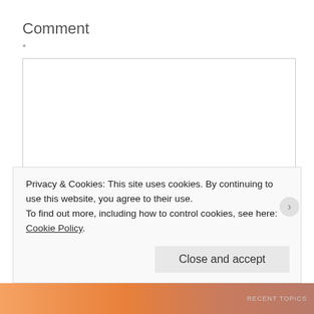Comment
*
[Figure (screenshot): Empty textarea input box for comment]
Name *
[Figure (screenshot): Text input field for Name]
Privacy & Cookies: This site uses cookies. By continuing to use this website, you agree to their use.
To find out more, including how to control cookies, see here: Cookie Policy
Close and accept